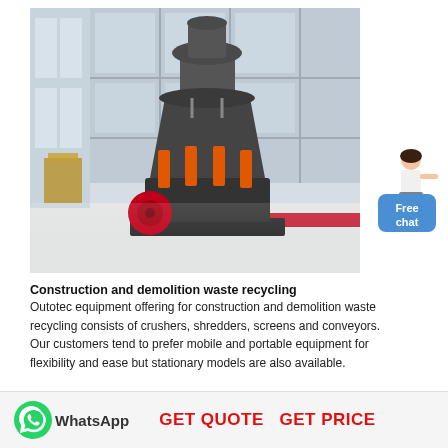[Figure (photo): Large industrial cone crusher machine (grey body with orange hydraulic cylinders and red base disk) standing on a polished floor in a modern factory/exhibition hall with large windows in the background.]
[Figure (illustration): Small illustration of a woman in white business attire pointing, next to a blue rounded-rectangle button labeled 'Free chat']
Construction and demolition waste recycling
Outotec equipment offering for construction and demolition waste recycling consists of crushers, shredders, screens and conveyors. Our customers tend to prefer mobile and portable equipment for flexibility and ease but stationary models are also available.
[Figure (logo): WhatsApp green circle icon with phone handset]
WhatsApp
GET QUOTE   GET PRICE